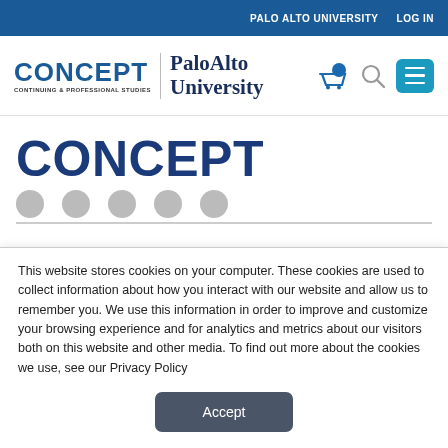PALO ALTO UNIVERSITY   LOG IN
[Figure (logo): CONCEPT Continuing & Professional Studies | Palo Alto University logo with shopping cart, search, and menu icons]
CONCEPT
This website stores cookies on your computer. These cookies are used to collect information about how you interact with our website and allow us to remember you. We use this information in order to improve and customize your browsing experience and for analytics and metrics about our visitors both on this website and other media. To find out more about the cookies we use, see our Privacy Policy
Accept